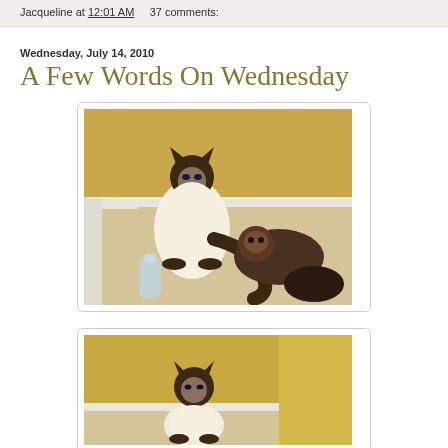Jacqueline at 12:01 AM   37 comments:
Wednesday, July 14, 2010
A Few Words On Wednesday
[Figure (photo): Two Siamese/Ragdoll cats on carpeted stairs near a wall corner, one sitting upright and one sprawled, with a water bottle nearby]
[Figure (photo): A Siamese/Ragdoll cat sitting on carpeted stairs, looking at camera, partially visible second photo]